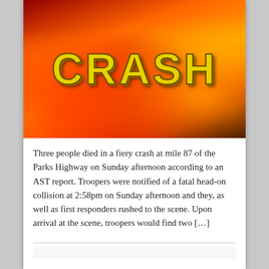[Figure (photo): Fiery crash graphic with large yellow text 'CRASH' over a background of orange and red flames]
Three people died in a fiery crash at mile 87 of the Parks Highway on Sunday afternoon according to an AST report. Troopers were notified of a fatal head-on collision at 2:58pm on Sunday afternoon and they, as well as first responders rushed to the scene. Upon arrival at the scene, troopers would find two […]